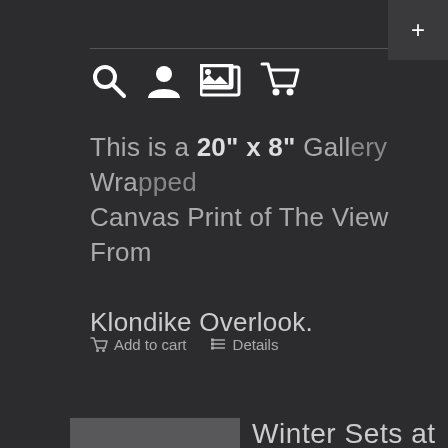[Figure (screenshot): Plus icon in top right corner on dark background]
[Figure (screenshot): Navigation bar icons: search, user account, gallery/image, shopping cart]
This is a 20" x 8" Gallery Wrapped Canvas Print of The View From Klondike Overlook.
Add to cart   Details
[Figure (photo): Small thumbnail image placeholder (gray square)]
Winter Sets at Klondike Park Canvas Print